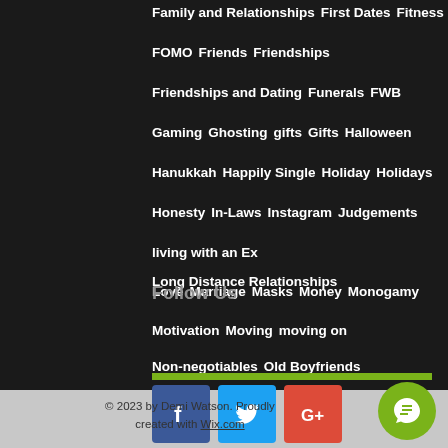Family and Relationships   First Dates   Fitness
FOMO   Friends   Friendships
Friendships and Dating   Funerals   FWB
Gaming   Ghosting   gifts   Gifts   Halloween
Hanukkah   Happily Single   Holiday   Holidays
Honesty   In-Laws   Instagram   Judgements
living with an Ex   Long Distance Relationships
Love   Marriage   Masks   Money   Monogamy
Motivation   Moving   moving on
Non-negotiables   Old Boyfriends
Follow Us
© 2023 by Demi Watson. Proudly created with Wix.com